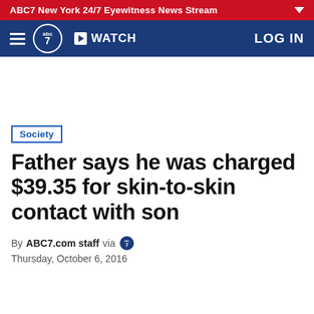ABC7 New York 24/7 Eyewitness News Stream
[Figure (logo): ABC7 navigation bar with hamburger menu, ABC7 logo, WATCH button, and LOG IN link]
Society
Father says he was charged $39.35 for skin-to-skin contact with son
By ABC7.com staff via Thursday, October 6, 2016